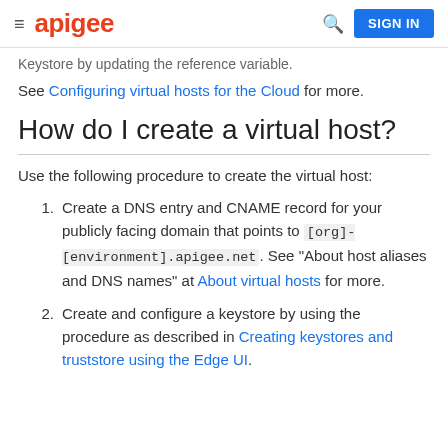apigee   SIGN IN
Keystore by updating the reference variable.
See Configuring virtual hosts for the Cloud for more.
How do I create a virtual host?
Use the following procedure to create the virtual host:
Create a DNS entry and CNAME record for your publicly facing domain that points to [org]-[environment].apigee.net. See "About host aliases and DNS names" at About virtual hosts for more.
Create and configure a keystore by using the procedure as described in Creating keystores and truststore using the Edge UI.